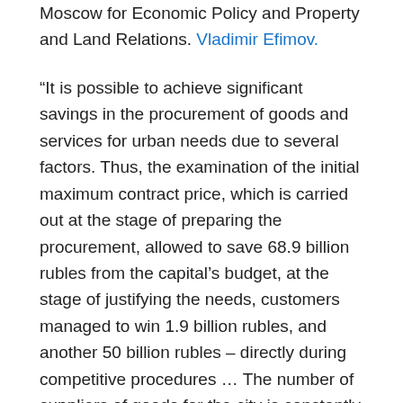Moscow for Economic Policy and Property and Land Relations. Vladimir Efimov.
“It is possible to achieve significant savings in the procurement of goods and services for urban needs due to several factors. Thus, the examination of the initial maximum contract price, which is carried out at the stage of preparing the procurement, allowed to save 68.9 billion rubles from the capital’s budget, at the stage of justifying the needs, customers managed to win 1.9 billion rubles, and another 50 billion rubles – directly during competitive procedures … The number of suppliers of goods for the city is constantly growing, this increases competition during auctions and leads to a decrease in the cost of the contract, "the deputy mayor said.
This year, tenders for the amount of 704.6 billion rubles were announced for the purchase of goods and services for urban